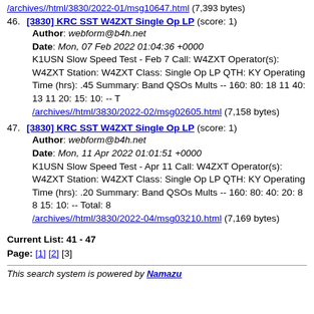/archives//html/3830/2022-01/msg10647.html (7,393 bytes)
46. [3830] KRC SST W4ZXT Single Op LP (score: 1)
Author: webform@b4h.net
Date: Mon, 07 Feb 2022 01:04:36 +0000
K1USN Slow Speed Test - Feb 7 Call: W4ZXT Operator(s): W4ZXT Station: W4ZXT Class: Single Op LP QTH: KY Operating Time (hrs): .45 Summary: Band QSOs Mults -- 160: 80: 18 11 40: 13 11 20: 15: 10: -- T
/archives//html/3830/2022-02/msg02605.html (7,158 bytes)
47. [3830] KRC SST W4ZXT Single Op LP (score: 1)
Author: webform@b4h.net
Date: Mon, 11 Apr 2022 01:01:51 +0000
K1USN Slow Speed Test - Apr 11 Call: W4ZXT Operator(s): W4ZXT Station: W4ZXT Class: Single Op LP QTH: KY Operating Time (hrs): .20 Summary: Band QSOs Mults -- 160: 80: 40: 20: 8 8 15: 10: -- Total: 8
/archives//html/3830/2022-04/msg03210.html (7,169 bytes)
Current List: 41 - 47
Page: [1] [2] [3]
This search system is powered by Namazu